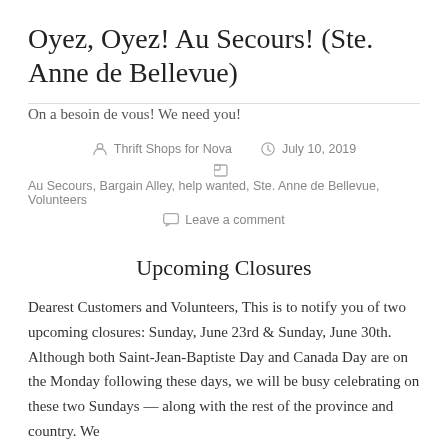Oyez, Oyez! Au Secours! (Ste. Anne de Bellevue)
On a besoin de vous! We need you!
Thrift Shops for Nova   July 10, 2019
Au Secours, Bargain Alley, help wanted, Ste. Anne de Bellevue, Volunteers
Leave a comment
Upcoming Closures
Dearest Customers and Volunteers, This is to notify you of two upcoming closures: Sunday, June 23rd & Sunday, June 30th. Although both Saint-Jean-Baptiste Day and Canada Day are on the Monday following these days, we will be busy celebrating on these two Sundays — along with the rest of the province and country. We